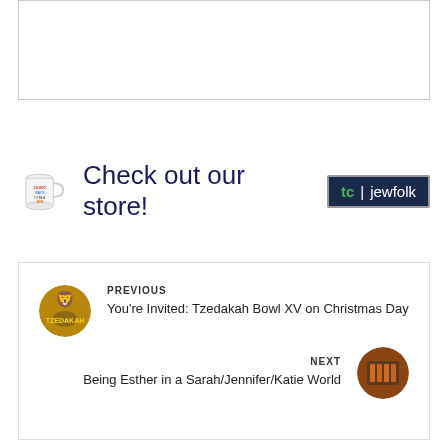[Figure (other): White rectangular box with border, top section placeholder]
[Figure (infographic): Store banner with mug image, 'Check out our store!' text, and tc|jewfolk logo]
[Figure (other): Navigation box with previous and next article links. Previous: 'You're Invited: Tzedakah Bowl XV on Christmas Day' with lion emblem thumbnail. Next: 'Being Esther in a Sarah/Jennifer/Katie World' with thumbnail.]